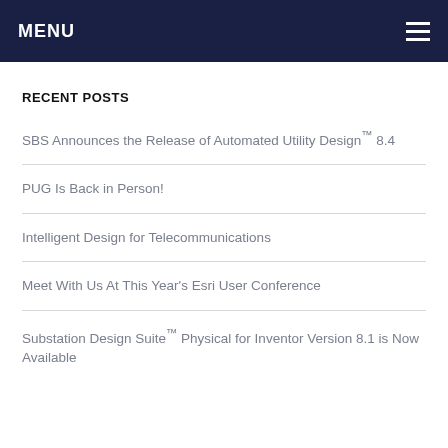MENU
RECENT POSTS
SBS Announces the Release of Automated Utility Design™ 8.4
PUG Is Back in Person!
Intelligent Design for Telecommunications
Meet With Us At This Year's Esri User Conference
Substation Design Suite™ Physical for Inventor Version 8.1 is Now Available